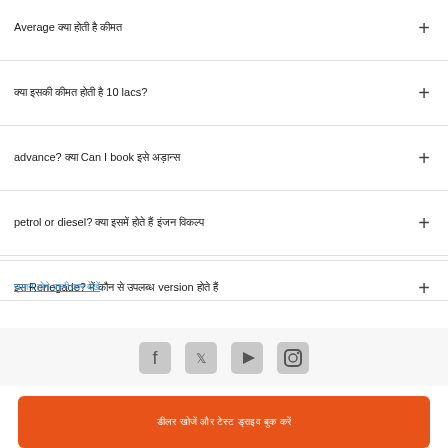Average [text] [text] [text]
[text] [text] [text] [text] 10 lacs?
advance? [text] Can I book [text] [text]
petrol or diesel? [text] [text] [text] [text] [text]
[text] Renegade? [text] [text] [text] version [text]
[link text]
[Figure (infographic): Social media icons: Facebook, Twitter, YouTube, Instagram]
[CTA button text in Devanagari]